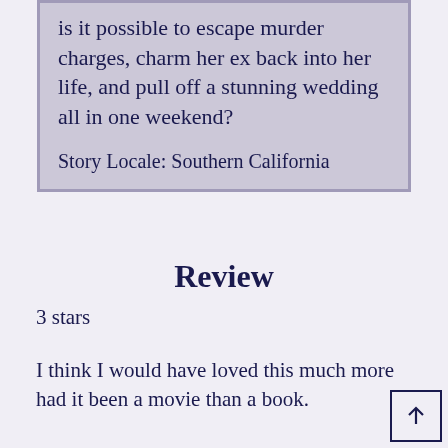is it possible to escape murder charges, charm her ex back into her life, and pull off a stunning wedding all in one weekend?
Story Locale: Southern California
Review
3 stars
I think I would have loved this much more had it been a movie than a book.